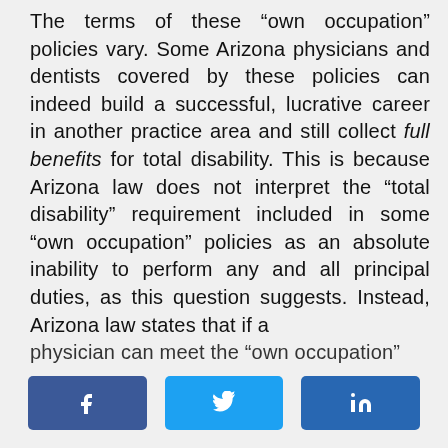The terms of these “own occupation” policies vary. Some Arizona physicians and dentists covered by these policies can indeed build a successful, lucrative career in another practice area and still collect full benefits for total disability. This is because Arizona law does not interpret the “total disability” requirement included in some “own occupation” policies as an absolute inability to perform any and all principal duties, as this question suggests. Instead, Arizona law states that if a [physician can meet the “own occupation”]
[Figure (other): Social sharing buttons for Facebook, Twitter, and LinkedIn]